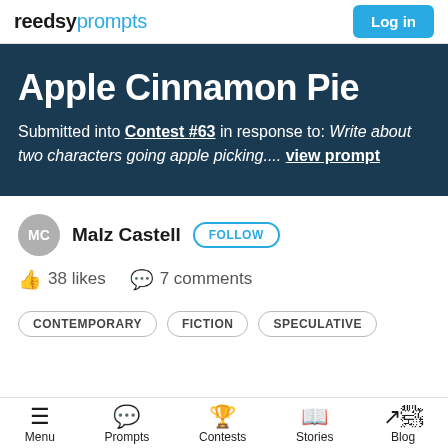reedsy prompts | Log in
Apple Cinnamon Pie
Submitted into Contest #63 in response to: Write about two characters going apple picking.... view prompt
MC Malz Castell FOLLOW
38 likes  7 comments
CONTEMPORARY  FICTION  SPECULATIVE
Menu  Prompts  Contests  Stories  Blog